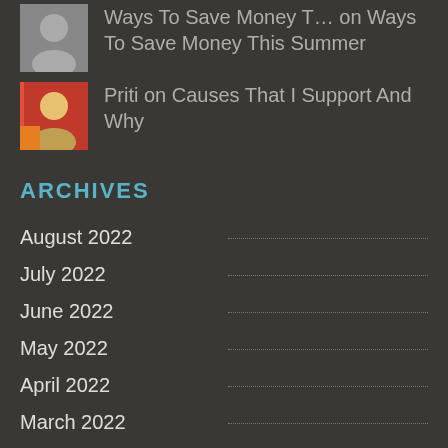Ways To Save Money T… on Ways To Save Money This Summer
Priti on Causes That I Support And Why
ARCHIVES
August 2022
July 2022
June 2022
May 2022
April 2022
March 2022
February 2022